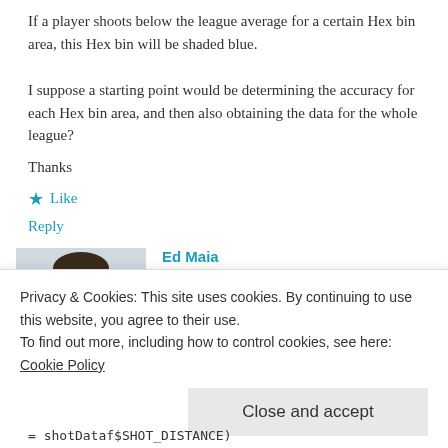If a player shoots below the league average for a certain Hex bin area, this Hex bin will be shaded blue.
I suppose a starting point would be determining the accuracy for each Hex bin area, and then also obtaining the data for the whole league?
Thanks
★ Like
Reply
Ed Maia
April 25, 2016 at 7:02 pm
Yes, the tricky part here is to calculate the
Privacy & Cookies: This site uses cookies. By continuing to use this website, you agree to their use.
To find out more, including how to control cookies, see here: Cookie Policy
Close and accept
= shotDataf$SHOT_DISTANCE)